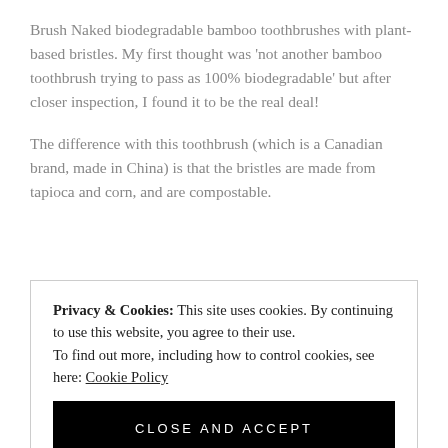Brush Naked biodegradable bamboo toothbrushes with plant-based bristles. My first thought was 'not another bamboo toothbrush trying to pass as 100% biodegradable' but after closer inspection, I found it to be the real deal!
The difference with this toothbrush (which is a Canadian brand, made in China) is that the bristles are made from tapioca and corn, and are compostable.
Privacy & Cookies: This site uses cookies. By continuing to use this website, you agree to their use.
To find out more, including how to control cookies, see here: Cookie Policy

CLOSE AND ACCEPT